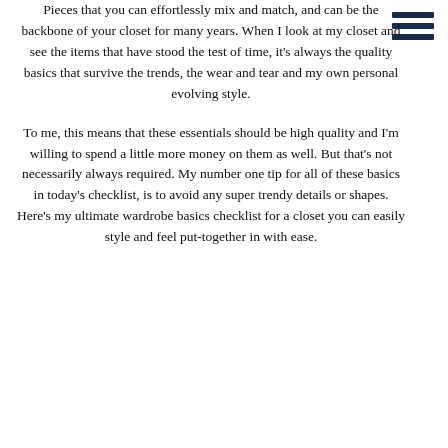Pieces that you can effortlessly mix and match, and can be the backbone of your closet for many years. When I look at my closet and see the items that have stood the test of time, it's always the quality basics that survive the trends, the wear and tear and my own personal evolving style.

To me, this means that these essentials should be high quality and I'm willing to spend a little more money on them as well. But that's not necessarily always required. My number one tip for all of these basics in today's checklist, is to avoid any super trendy details or shapes. Here's my ultimate wardrobe basics checklist for a closet you can easily style and feel put-together in with ease.